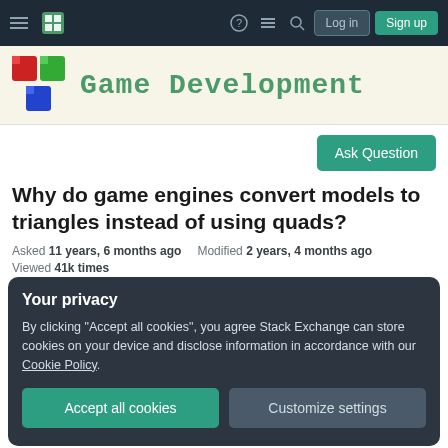Game Development Stack Exchange — navigation bar with Log in and Sign up buttons
[Figure (logo): Game Development Stack Exchange logo with colored cube blocks and green pixel-font text reading 'Game Development']
Ask Question
Why do game engines convert models to triangles instead of using quads?
Asked 11 years, 6 months ago   Modified 2 years, 4 months ago
Viewed 41k times
Your privacy
By clicking "Accept all cookies", you agree Stack Exchange can store cookies on your device and disclose information in accordance with our Cookie Policy.
Accept all cookies   Customize settings
couldn't figure out why all game engines (that I